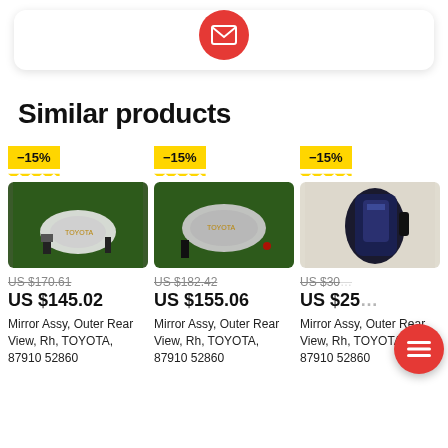[Figure (other): Red circular email/envelope button at top of card]
Similar products
[Figure (photo): Toyota side mirror product photo with −15% discount badge, original price US $170.61, sale price US $145.02]
US $170.61
US $145.02
Mirror Assy, Outer Rear View, Rh, TOYOTA, 87910 52860
[Figure (photo): Toyota side mirror product photo with −15% discount badge, original price US $182.42, sale price US $155.06]
US $182.42
US $155.06
Mirror Assy, Outer Rear View, Rh, TOYOTA, 87910 52860
[Figure (photo): Toyota dark side mirror product photo with −15% discount badge, original price US $30x (partially hidden), sale price US $25x (partially hidden)]
US $30…
US $25…
Mirror Assy, Outer Rear View, Rh, TOYOTA, 87910 52860